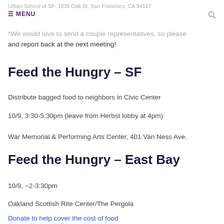Urban School of SF: 1639 Oak St, San Francisco, CA 94117
☰ MENU
*We would love to send a couple representatives, so please and report back at the next meeting!
Feed the Hungry – SF
Distribute bagged food to neighbors in Civic Center
10/9, 3:30-5:30pm (leave from Herbst lobby at 4pm)
War Memorial & Performing Arts Center, 401 Van Ness Ave.
Feed the Hungry – East Bay
10/9, ~2-3:30pm
Oakland Scottish Rite Center/The Pergola
Donate to help cover the cost of food